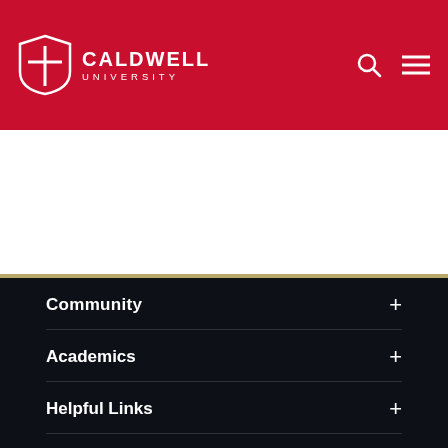Caldwell University
Community
Academics
Helpful Links
Campus Info